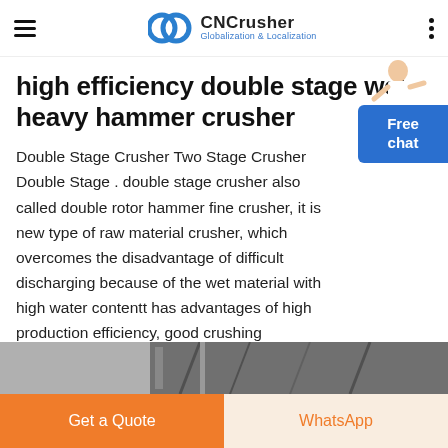CNCrusher Globalization & Localization
high efficiency double stage wet heavy hammer crusher
Double Stage Crusher Two Stage Crusher Double Stage . double stage crusher also called double rotor hammer fine crusher, it is new type of raw material crusher, which overcomes the disadvantage of difficult discharging because of the wet material with high water contentt has advantages of high production efficiency, good crushing effect,etcppliion range of double ...
[Figure (illustration): Free chat button with person character illustration in top-right area]
OBTENER UN PRECIO
[Figure (photo): Partial view of industrial crusher machinery]
Get a Quote | WhatsApp